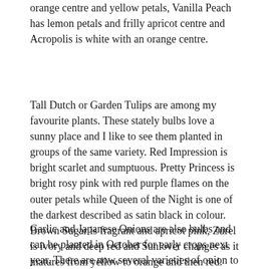orange centre and yellow petals, Vanilla Peach has lemon petals and frilly apricot centre and Acropolis is white with an orange centre.
Tall Dutch or Garden Tulips are among my favourite plants. These stately bulbs love a sunny place and I like to see them planted in groups of the same variety. Red Impression is bright scarlet and sumptuous. Pretty Princess is bright rosy pink with red purple flames on the outer petals while Queen of the Night is one of the darkest described as satin black in colour. Brown Sugar is fragrant and apricot pink, Zurel is ivory and deep red and Sunlover changes as it matures from yellow to orange and then red.
Garlic and Japanese Onions are also bulbs and can be planted in October for early crops next year. There are now several varieties of onion to choose from, all are hardy and reliable, it is your personal choice for flavour. We have the yellow onions